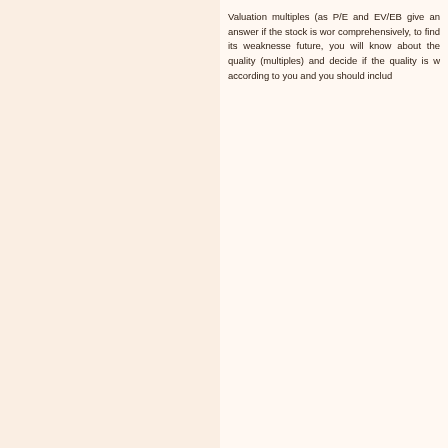Valuation multiples (as P/E and EV/EB give an answer if the stock is wor comprehensively, to find its weaknesse future, you will know about the quality (multiples) and decide if the quality is w according to you and you should includ
Last searches: spread , Roce , investment finance , market capitalization , mutual funds , stocks
Press '+1' button if you like this page:
All rights reserved. www.investingforbeginners.eu © 2021. Tesla Solutions
This site does not offer the information to buy or sell any financial instruments. investingforbeginners.e information provided by the website. It is strictly forbidden to distribute information, published on this w